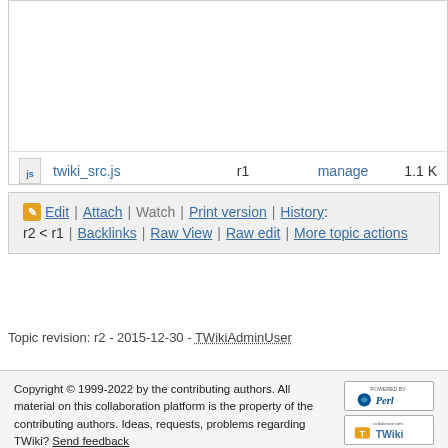|  | Name | Rev | Action | Size |
| --- | --- | --- | --- | --- |
| [js] | twiki_src.js | r1 | manage | 1.1 K |
Edit | Attach | Watch | Print version | History: r2 < r1 | Backlinks | Raw View | Raw edit | More topic actions
Topic revision: r2 - 2015-12-30 - TWikiAdminUser
Copyright © 1999-2022 by the contributing authors. All material on this collaboration platform is the property of the contributing authors. Ideas, requests, problems regarding TWiki? Send feedback
Note: Please contribute updates to this topic on TWiki.org at TWiki:TWiki.DatePickerPlugin.